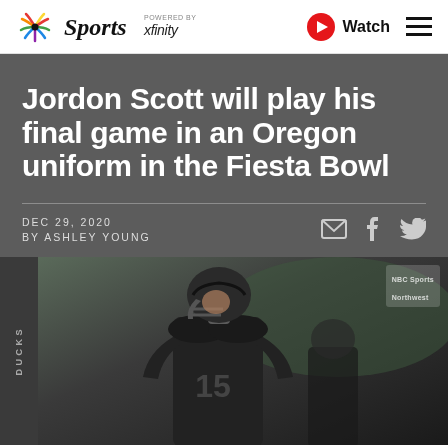NBC Sports powered by xfinity — Watch
Jordon Scott will play his final game in an Oregon uniform in the Fiesta Bowl
DEC 29, 2020
BY ASHLEY YOUNG
[Figure (photo): Football player wearing jersey number 15 in a dark uniform with helmet, photographed on a green field background. NBC Sports Northwest watermark visible in top right corner.]